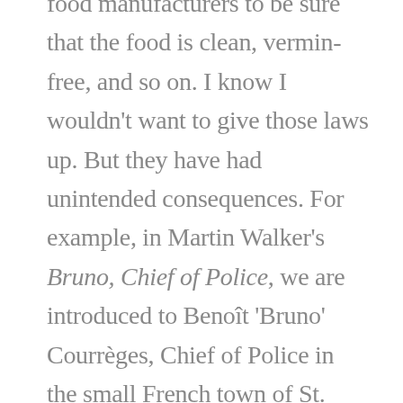food manufacturers to be sure that the food is clean, vermin-free, and so on. I know I wouldn't want to give those laws up. But they have had unintended consequences. For example, in Martin Walker's Bruno, Chief of Police, we are introduced to Benoît 'Bruno' Courrèges, Chief of Police in the small French town of St. Denis. The town is in the Périgord, the heart of French gastronomic culture, and people there have been making delicious food for generations. So, they are none too pleased when the EU passes new laws respecting the handling and cooking of food. They see no need for some